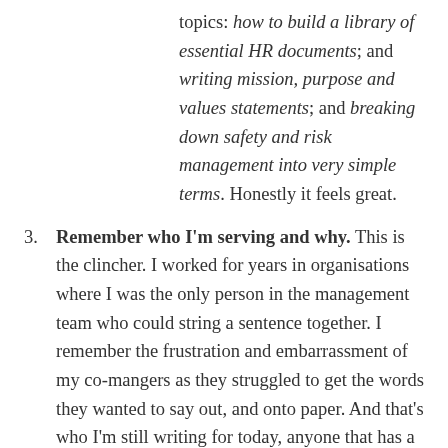topics: how to build a library of essential HR documents; and writing mission, purpose and values statements; and breaking down safety and risk management into very simple terms. Honestly it feels great.
3. Remember who I'm serving and why. This is the clincher. I worked for years in organisations where I was the only person in the management team who could string a sentence together. I remember the frustration and embarrassment of my co-mangers as they struggled to get the words they wanted to say out, and onto paper. And that's who I'm still writing for today, anyone that has a wealth of experience an innovation locked inside — and a fire in their belly to get it out. They're just not